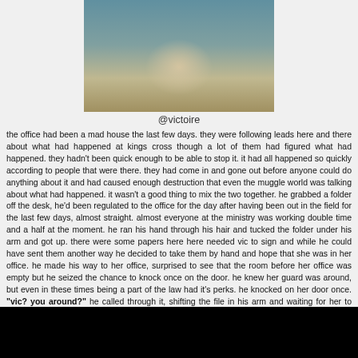[Figure (photo): Photo of a smiling young person wearing a gray jacket, cropped to show face and upper body]
@victoire
the office had been a mad house the last few days. they were following leads here and there about what had happened at kings cross though a lot of them had figured what had happened. they hadn't been quick enough to be able to stop it. it had all happened so quickly according to people that were there. they had come in and gone out before anyone could do anything about it and had caused enough destruction that even the muggle world was talking about what had happened. it wasn't a good thing to mix the two together. he grabbed a folder off the desk, he'd been regulated to the office for the day after having been out in the field for the last few days, almost straight. almost everyone at the ministry was working double time and a half at the moment. he ran his hand through his hair and tucked the folder under his arm and got up. there were some papers here here needed vic to sign and while he could have sent them another way he decided to take them by hand and hope that she was in her office. he made his way to her office, surprised to see that the room before her office was empty but he seized the chance to knock once on the door. he knew her guard was around, but even in these times being a part of the law had it's perks. he knocked on her door once. "vic? you around?" he called through it, shifting the file in his arm and waiting for her to answer.
[Figure (photo): Thumbnail image with purple/blue glowing hands against a dark background]
Deleted